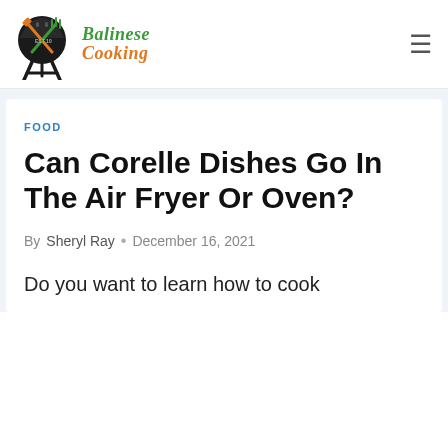[Figure (logo): Balinese Cooking logo with grill/BBQ icon and site name in green and orange stylized text]
FOOD
Can Corelle Dishes Go In The Air Fryer Or Oven?
By Sheryl Ray · December 16, 2021
Do you want to learn how to cook